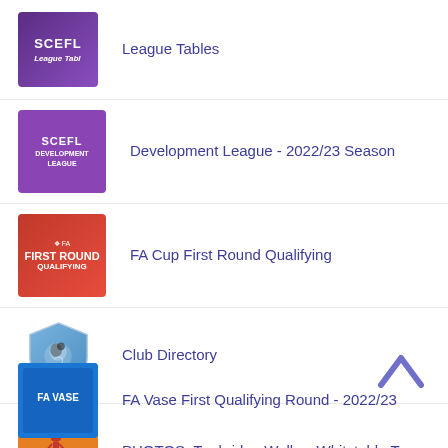League Tables
Development League - 2022/23 Season
FA Cup First Round Qualifying
Club Directory
PHOTOS: Tunbridge Wells v Whitstable Town
FA Vase First Qualifying Round - 2022/23